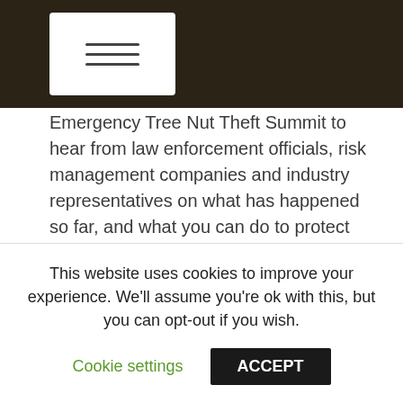Emergency Tree Nut Theft Summit to hear from law enforcement officials, risk management companies and industry representatives on what has happened so far, and what you can do to protect yourself. Out of those meetings came a set of recommendations for handlers to follow. Accordingly, we encourage handlers to use the following minimum procedures:
All pick-up appoints must be made at least 24 hours in advance, and require:
Pick-up #
Driver’s name and D/L #
This website uses cookies to improve your experience. We'll assume you're ok with this, but you can opt-out if you wish.